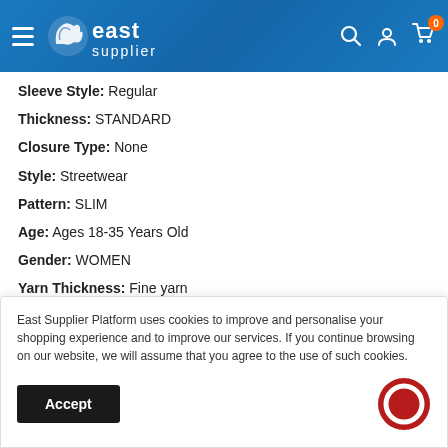[Figure (logo): East Supplier website header with logo, hamburger menu, search, account, and cart icons]
Sleeve Style: Regular
Thickness: STANDARD
Closure Type: None
Style: Streetwear
Pattern: SLIM
Age: Ages 18-35 Years Old
Gender: WOMEN
Yarn Thickness: Fine yarn
Model Number: Women Sweater
East Supplier Platform uses cookies to improve and personalise your shopping experience and to improve our services. If you continue browsing on our website, we will assume that you agree to the use of such cookies.